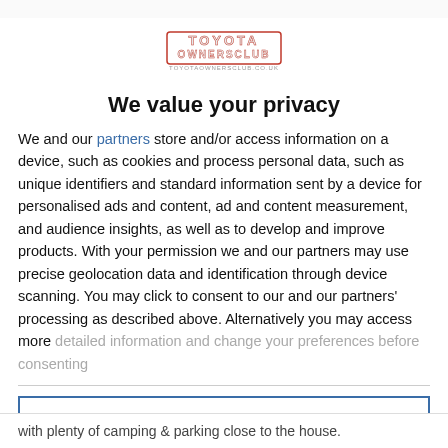[Figure (logo): Toyota Owners Club logo with red and white text]
We value your privacy
We and our partners store and/or access information on a device, such as cookies and process personal data, such as unique identifiers and standard information sent by a device for personalised ads and content, ad and content measurement, and audience insights, as well as to develop and improve products. With your permission we and our partners may use precise geolocation data and identification through device scanning. You may click to consent to our and our partners' processing as described above. Alternatively you may access more detailed information and change your preferences before consenting
AGREE
MORE OPTIONS
with plenty of camping & parking close to the house.